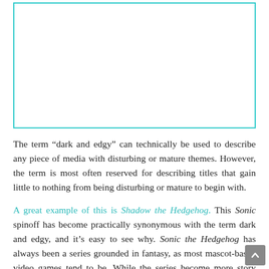[Figure (other): Empty teal-bordered rectangle placeholder image area]
The term “dark and edgy” can technically be used to describe any piece of media with disturbing or mature themes. However, the term is most often reserved for describing titles that gain little to nothing from being disturbing or mature to begin with.
A great example of this is Shadow the Hedgehog. This Sonic spinoff has become practically synonymous with the term dark and edgy, and it’s easy to see why. Sonic the Hedgehog has always been a series grounded in fantasy, as most mascot-based video games tend to be. While the series become more story driven after Sonic